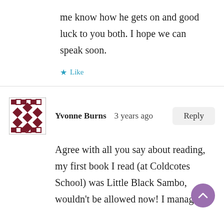me know how he gets on and good luck to you both. I hope we can speak soon.
Like
Yvonne Burns   3 years ago
Reply
Agree with all you say about reading, my first book I read (at Coldcotes School) was Little Black Sambo, wouldn't be allowed now! I managed